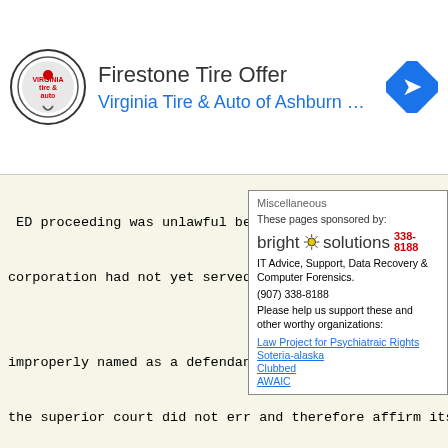[Figure (screenshot): Firestone Tire Offer advertisement banner for Virginia Tire & Auto of Ashburn, with circular logo and navigation icon]
ED proceeding was unlawful be                at the t
[Figure (other): Sidebar popup: Miscellaneous label, 'These pages sponsored by: bright solutions 338-8188, IT Advice, Support, Data Recovery & Computer Forensics. (907) 338-8188. Please help us support these and other worthy organizations: Law Project for Psychiatraic Rights, Soteria-alaska, Clubbed, AWAIC']
corporation had not yet served the noti      it; and t
improperly named as a defendant and in      in the FED
the superior court did not err and therefore affirm its